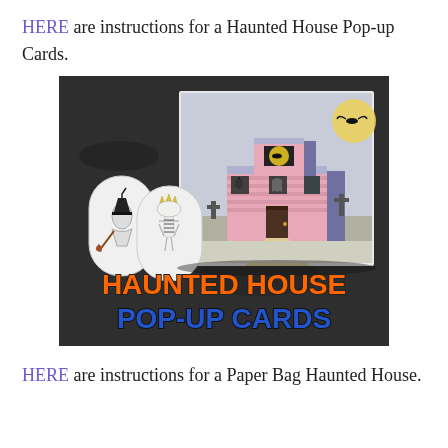HERE are instructions for a Haunted House Pop-up Cards.
[Figure (photo): Photo of a Haunted House Pop-up Card craft project. The card shows a pink haunted house with bats and a moon, standing up 3D. In front are two tombstone-shaped pop-up figures with witch and skeleton illustrations. Text overlay reads 'HAUNTED HOUSE POP-UP CARDS' in orange and blue lettering on a dark granite background.]
HERE are instructions for a Paper Bag Haunted House.